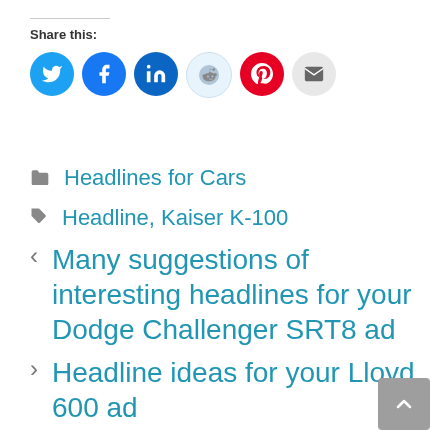Share this:
[Figure (infographic): Social sharing buttons: Twitter (blue), Facebook (dark blue), LinkedIn (dark blue), Reddit (light blue), Pinterest (red), Email (grey)]
Headlines for Cars
Headline, Kaiser K-100
< Many suggestions of interesting headlines for your Dodge Challenger SRT8 ad
> Headline ideas for your Lloyd 600 ad